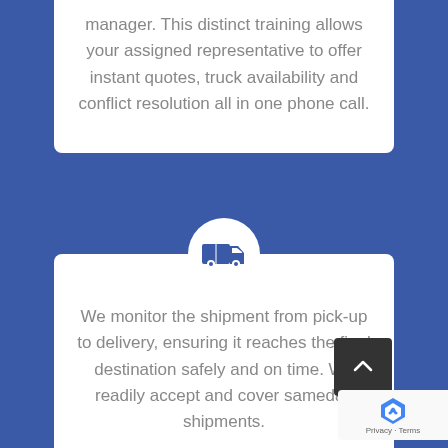manager. This distinct training allows your assigned representative to offer instant quotes, truck availability and conflict resolution all in one phone call.
[Figure (illustration): Delivery truck icon inside a white circle on blue background]
We monitor the shipment from pick-up to delivery, ensuring it reaches the final destination safely and on time. We readily accept and cover sameday shipments.